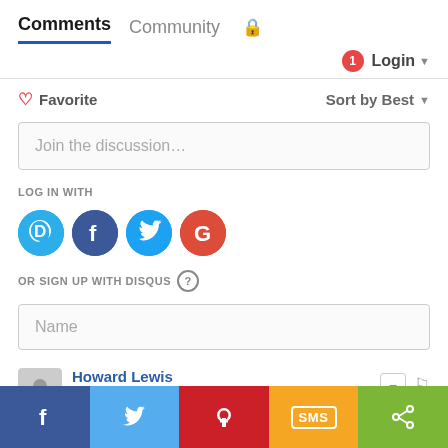Comments  Community  🔒
1  Login ▾
♡ Favorite    Sort by Best ▾
Join the discussion…
LOG IN WITH
[Figure (logo): Social login icons: Disqus (blue speech bubble D), Facebook (dark blue F), Twitter (light blue bird), Google (red G)]
OR SIGN UP WITH DISQUS ?
Name
Howard Lewis
9 months ago
With no test in existence that can tell any...
[Figure (infographic): Bottom social sharing bar: Facebook (blue), Twitter (light blue), Pinterest (red), SMS (orange/yellow), Share (green)]